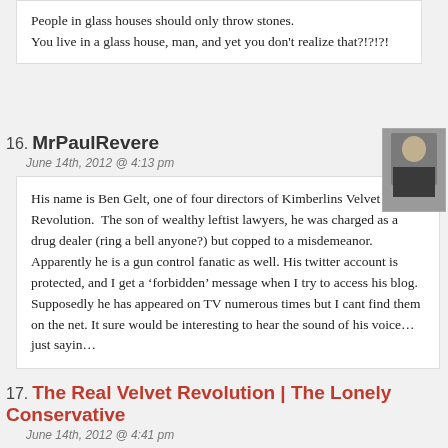People in glass houses should only throw stones.
You live in a glass house, man, and yet you don't realize that?!?!?!
16. MrPaulRevere
June 14th, 2012 @ 4:13 pm
His name is Ben Gelt, one of four directors of Kimberlins Velvet Revolution.  The son of wealthy leftist lawyers, he was charged as a drug dealer (ring a bell anyone?) but copped to a misdemeanor. Apparently he is a gun control fanatic as well. His twitter account is protected, and I get a ‘forbidden’ message when I try to access his blog. Supposedly he has appeared on TV numerous times but I cant find them on the net. It sure would be interesting to hear the sound of his voice…just sayin…
17. The Real Velvet Revolution | The Lonely Conservative
June 14th, 2012 @ 4:41 pm
[…] is the real Velvet Revolution.Update: The PJ Tatler has more on Kimberlin’s funding.Update 2: Are big media reporters afraid to